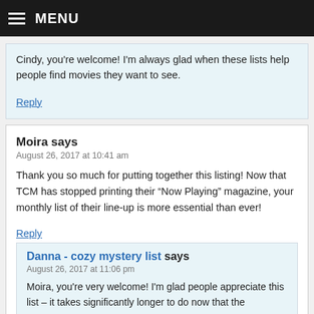MENU
Cindy, you're welcome! I'm always glad when these lists help people find movies they want to see.
Reply
Moira says
August 26, 2017 at 10:41 am
Thank you so much for putting together this listing! Now that TCM has stopped printing their “Now Playing” magazine, your monthly list of their line-up is more essential than ever!
Reply
Danna - cozy mystery list says
August 26, 2017 at 11:06 pm
Moira, you're very welcome! I'm glad people appreciate this list – it takes significantly longer to do now that the